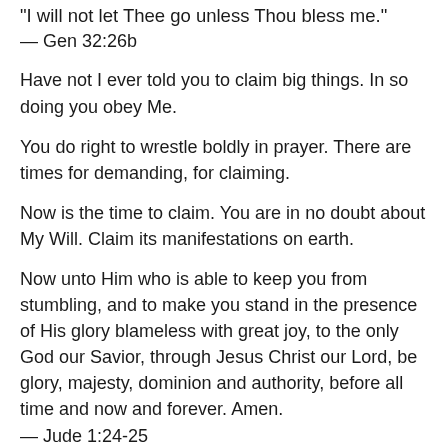“I will not let Thee go unless Thou bless me.”
— Gen 32:26b
Have not I ever told you to claim big things. In so doing you obey Me.
You do right to wrestle boldly in prayer. There are times for demanding, for claiming.
Now is the time to claim. You are in no doubt about My Will. Claim its manifestations on earth.
Now unto Him who is able to keep you from stumbling, and to make you stand in the presence of His glory blameless with great joy, to the only God our Savior, through Jesus Christ our Lord, be glory, majesty, dominion and authority, before all time and now and forever. Amen.
— Jude 1:24-25